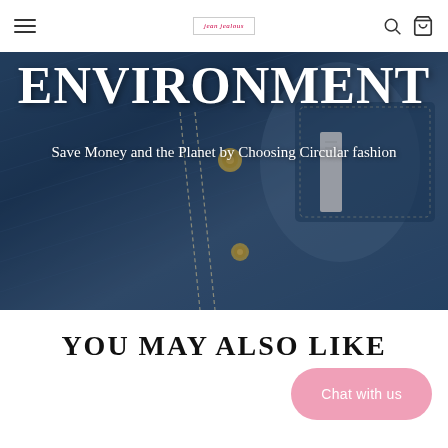Navigation bar with hamburger menu, logo (jeanjealous), search and cart icons
[Figure (photo): Close-up photo of dark blue denim jeans fabric with stitching, button, and pocket details serving as hero background]
ENVIRONMENT
Save Money and the Planet by Choosing Circular fashion
YOU MAY ALSO LIKE
Chat with us